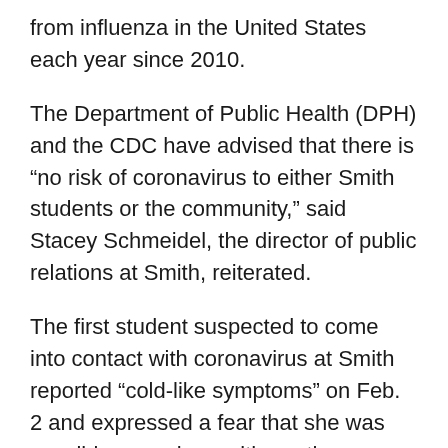from influenza in the United States each year since 2010.
The Department of Public Health (DPH) and the CDC have advised that there is “no risk of coronavirus to either Smith students or the community,” said Stacey Schmeidel, the director of public relations at Smith, reiterated.
The first student suspected to come into contact with coronavirus at Smith reported “cold-like symptoms” on Feb. 2 and expressed a fear that she was possibly on a plane with another individual exposed to the virus. However, this has not been confirmed. The student was “never considered at risk by DPH or the CDC for the virus,” Schmeidel said.